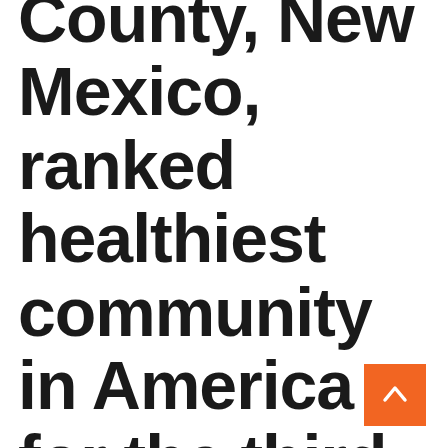County, New Mexico, ranked healthiest community in America for the third time: report